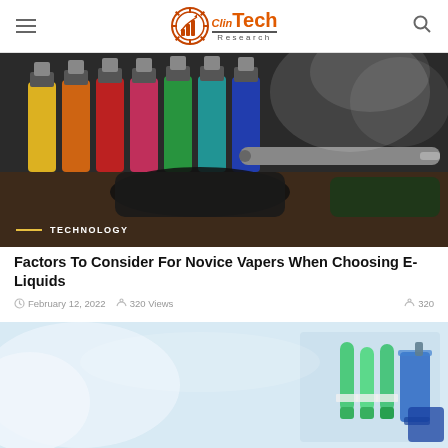ClinTech Research
[Figure (photo): Colorful e-liquid bottles in rainbow arrangement with vape pen and smoke on dark background]
TECHNOLOGY
Factors To Consider For Novice Vapers When Choosing E-Liquids
February 12, 2022   320 Views   320
[Figure (photo): Laboratory setting with green liquid test tubes and blue liquid beakers, blurred white coat in background]